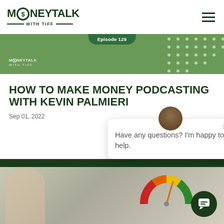MoneyTalk With Tiff
[Figure (screenshot): Green banner with Episode 129 badge, MoneyTalk logo small, and polka dot pattern]
HOW TO MAKE MONEY PODCASTING WITH KEVIN PALMIERI
Sep 01, 2022
[Figure (photo): Person in white shirt holding a colorful gauge/speedometer dial with red, orange, yellow, green segments]